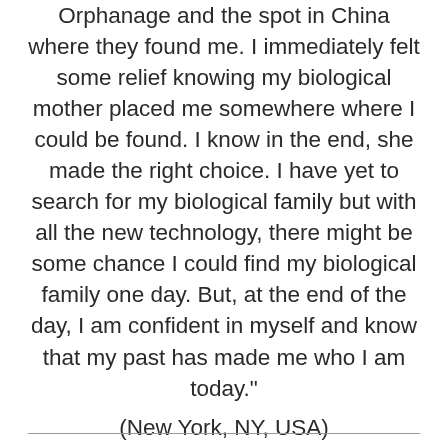Orphanage and the spot in China where they found me. I immediately felt some relief knowing my biological mother placed me somewhere where I could be found. I know in the end, she made the right choice. I have yet to search for my biological family but with all the new technology, there might be some chance I could find my biological family one day. But, at the end of the day, I am confident in myself and know that my past has made me who I am today." (New York, NY, USA)